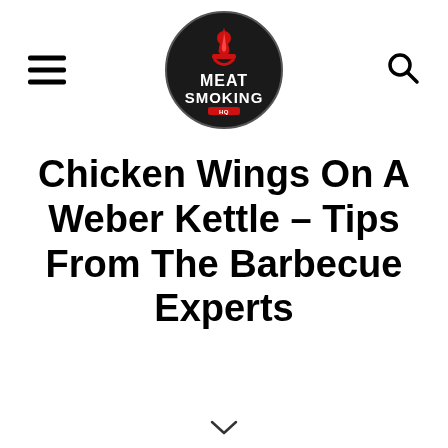[Figure (logo): Meat Smoking HQ logo: black circle with white text MEAT SMOKING and a red flame/grill icon on top]
Chicken Wings On A Weber Kettle – Tips From The Barbecue Experts